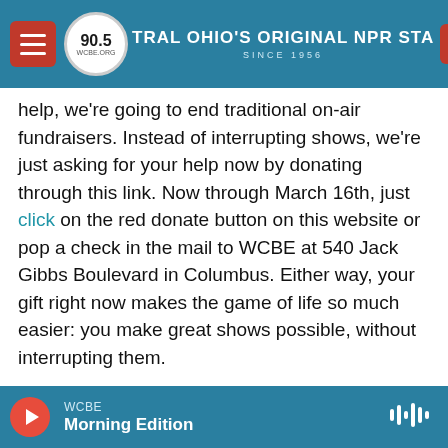[Figure (screenshot): WCBE 90.5 NPR radio station website navigation bar with hamburger menu, logo, station tagline 'CENTRAL OHIO'S ORIGINAL NPR STATION SINCE 1956', and red Donate button]
help, we're going to end traditional on-air fundraisers. Instead of interrupting shows, we're just asking for your help now by donating through this link. Now through March 16th, just click on the red donate button on this website or pop a check in the mail to WCBE at 540 Jack Gibbs Boulevard in Columbus. Either way, your gift right now makes the game of life so much easier: you make great shows possible, without interrupting them.
Remember when you donate to WCBE 90.5 you become a member at any denomination. We also have suggested levels that include thank you gifts.
[Figure (screenshot): WCBE audio player bar with red play button, station name WCBE, and show title Morning Edition, with waveform icon on the right]